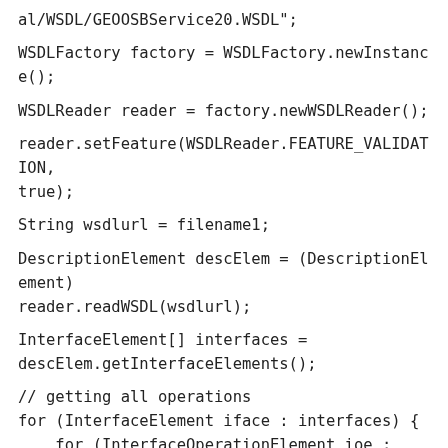al/WSDL/GEOOSBService20.WSDL";

WSDLFactory factory = WSDLFactory.newInstance();

WSDLReader reader = factory.newWSDLReader();

reader.setFeature(WSDLReader.FEATURE_VALIDATION, true);

String wsdlurl = filename1;

DescriptionElement descElem = (DescriptionElement) reader.readWSDL(wsdlurl);

InterfaceElement[] interfaces = descElem.getInterfaceElements();

// getting all operations
for (InterfaceElement iface : interfaces) {
    for (InterfaceOperationElement ioe : iface.getInterfaceOperationElements()) {
        System.out.println(ioe.getName().getLocalPart());